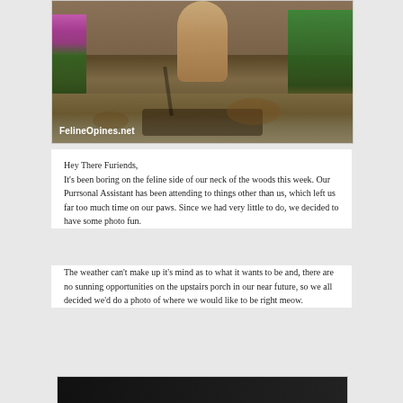[Figure (photo): Outdoor photo of a cat standing on a wooden path/railroad tie, with pink flowers on the left side and green leafy plants on the right. Brown mulch/dirt visible. Watermark reads 'FelineOpines.net' in white text at bottom left.]
Hey There Furiends,
It's been boring on the feline side of our neck of the woods this week. Our Purrsonal Assistant has been attending to things other than us, which left us far too much time on our paws. Since we had very little to do, we decided to have some photo fun.
The weather can't make up it's mind as to what it wants to be and, there are no sunning opportunities on the upstairs porch in our near future, so we all decided we'd do a photo of where we would like to be right meow.
[Figure (photo): Partially visible photo at the bottom of the page, showing a mostly black/dark image, cut off.]